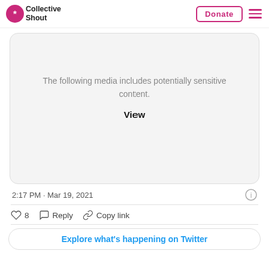[Figure (logo): Collective Shout logo with pink asterisk icon and text 'Collective Shout', plus Donate button and hamburger menu]
[Figure (screenshot): Twitter embedded media card showing 'The following media includes potentially sensitive content.' with a 'View' link]
2:17 PM · Mar 19, 2021
8  Reply  Copy link
Explore what's happening on Twitter